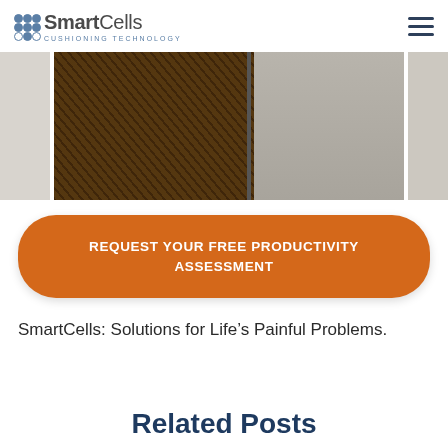SmartCells Cushioning Technology
[Figure (photo): Horizontal strip of flooring material photos showing cushioning mat textures — left panel light grey, center panel dark brown/grey woven texture mat, right edge light grey texture]
REQUEST YOUR FREE PRODUCTIVITY ASSESSMENT
SmartCells: Solutions for Life’s Painful Problems.
Related Posts